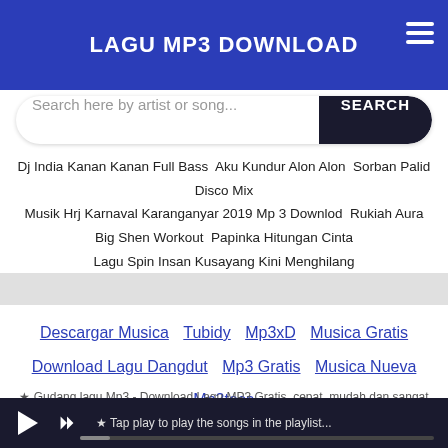LAGU MP3 DOWNLOAD
Search here by artist or song...
Dj India Kanan Kanan Full Bass  Aku Kundur Alon Alon  Sorban Palid Disco Mix  Musik Hrj Karnaval Karanganyar 2019 Mp 3 Downlod  Rukiah Aura  Big Shen Workout  Papinka Hitungan Cinta  Lagu Spin Insan Kusayang Kini Menghilang
Descargar Musica
Tubidy
Mp3xD
Musica Gratis
Download Lagu Dangdut
Mp3 Gratis
Musica Nueva
Mp3teca
Download Lagu Barat
Download Lagu KPOP
Download Lagu Surat Cinta Untuk Starla
★ Gudang lagu Mp3 - Download Lagu MP3 Gratis, cepat, mudah dan sangat stabil. Download Lagu Terbaru 2021, Gudang Lagu Mp3 Gratis Terbaik 2021. Gudang musik, Free download mp3 Indonesia.
★ Tap play to play the songs in the playlist...